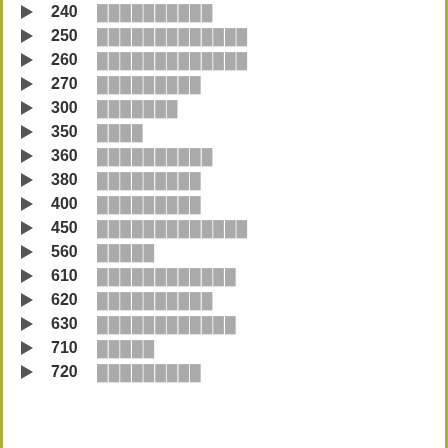240 ██████████
250 █████████████
260 █████████████
270 █████████
300 ███████
350 ████
360 ██████████
380 █████████
400 █████████
450 █████████████
560 █████
610 ████████████
620 ██████████
630 ████████████
710 █████
720 █████████